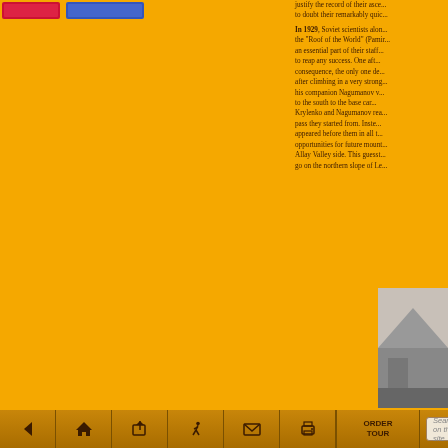justify the record of their ascent... to doubt their remarkably quick...
In 1929, Soviet scientists along the “Roof of the World” (Pamir...) an essential part of their staff... to reap any success. One after... consequence, the only one de... after climbing in a very strong... his companion Nagumanov v... to the south to the base cam... Krylenko and Nagumanov rea... pass they started from. Inste... appeared before them in all t... opportunities for future mount... Allay Valley side. This guesst... go on the northern slope of Le...
[Figure (photo): Black and white mountaineering photograph visible in bottom right corner]
ORDER TOUR  Search on the site